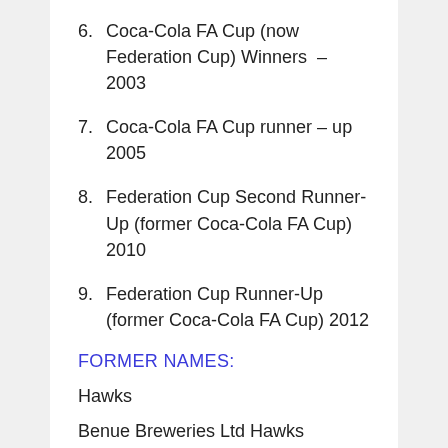6. Coca-Cola FA Cup (now Federation Cup) Winners – 2003
7. Coca-Cola FA Cup runner – up 2005
8. Federation Cup Second Runner-Up (former Coca-Cola FA Cup) 2010
9. Federation Cup Runner-Up (former Coca-Cola FA Cup) 2012
FORMER NAMES:
Hawks
Benue Breweries Ltd Hawks
Lobi Bank